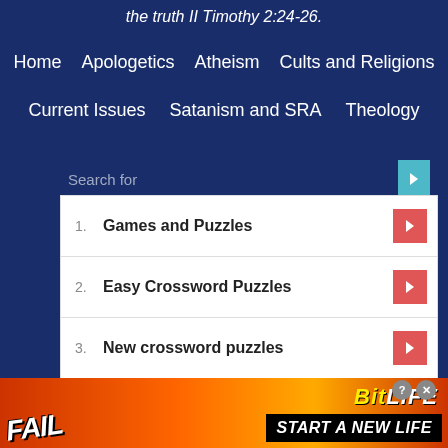the truth II Timothy 2:24-26.
Home   Apologetics   Atheism   Cults and Religions
Current Issues   Satanism and SRA   Theology
Search for
1. Games and Puzzles
2. Easy Crossword Puzzles
3. New crossword puzzles
4. Crossword Puzzle Download
5. Crossword Puzzle Answers
[Figure (screenshot): BitLife advertisement banner with FAIL text, emoji, and START A NEW LIFE caption]